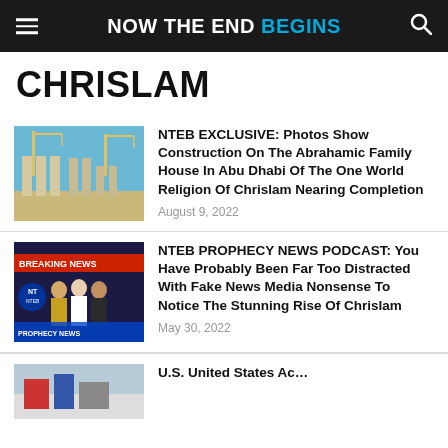NOW THE END BEGINS
CHRISLAM
[Figure (photo): Construction site with cranes and columns for the Abrahamic Family House in Abu Dhabi]
NTEB EXCLUSIVE: Photos Show Construction On The Abrahamic Family House In Abu Dhabi Of The One World Religion Of Chrislam Nearing Completion
August 9, 2022
[Figure (photo): Breaking news broadcast still showing religious figures including Pope Francis and Muslim clerics]
NTEB PROPHECY NEWS PODCAST: You Have Probably Been Far Too Distracted With Fake News Media Nonsense To Notice The Stunning Rise Of Chrislam
May 30, 2022
[Figure (photo): Partial thumbnail of a third article - partially visible at bottom of page]